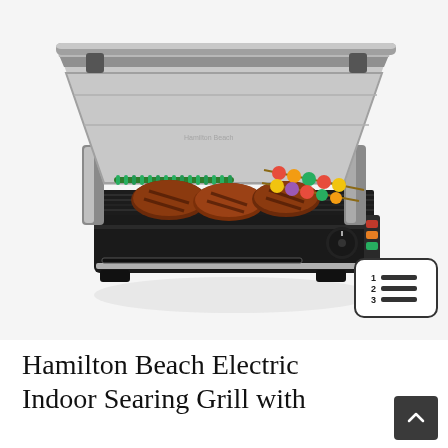[Figure (photo): Hamilton Beach Electric Indoor Searing Grill with the lid open, showing grilled steaks, asparagus, and vegetable skewers on the grill grate. Stainless steel and black body. A small numbered list icon appears to the right of the grill.]
Hamilton Beach Electric Indoor Searing Grill with